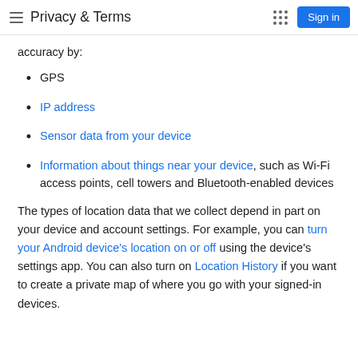Privacy & Terms
accuracy by:
GPS
IP address
Sensor data from your device
Information about things near your device, such as Wi-Fi access points, cell towers and Bluetooth-enabled devices
The types of location data that we collect depend in part on your device and account settings. For example, you can turn your Android device's location on or off using the device's settings app. You can also turn on Location History if you want to create a private map of where you go with your signed-in devices.